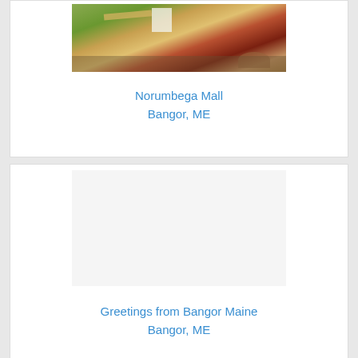[Figure (photo): Postcard image of Norumbega Mall, Bangor, ME — shows a garden path with flower beds and green lawn]
Norumbega Mall
Bangor, ME
[Figure (photo): Postcard image of Greetings from Bangor Maine — mostly blank/white area]
Greetings from Bangor Maine
Bangor, ME